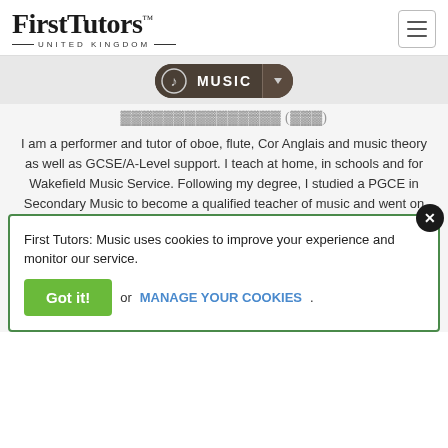[Figure (logo): First Tutors United Kingdom logo with hamburger menu icon]
[Figure (infographic): Music navigation pill with music note icon and dropdown arrow]
I am a performer and tutor of oboe, flute, Cor Anglais and music theory as well as GCSE/A-Level support. I teach at home, in schools and for Wakefield Music Service. Following my degree, I studied a PGCE in Secondary Music to become a qualified teacher of music and went on to work as a full time tea...
VIEW THIS TUTOR
[Figure (infographic): 5-star rating (4.5 stars shown), 7 reviews, badge icons and Get Started button]
First Tutors: Music uses cookies to improve your experience and monitor our service.
Got it! or MANAGE YOUR COOKIES.